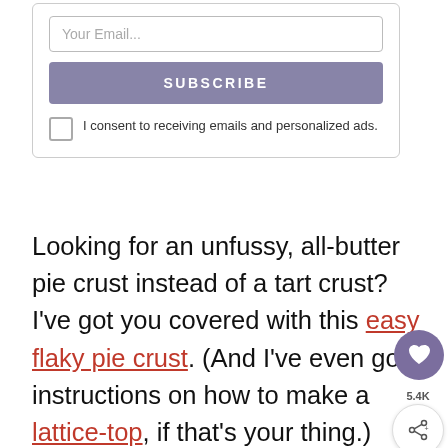Your Email...
SUBSCRIBE
I consent to receiving emails and personalized ads.
Looking for an unfussy, all-butter pie crust instead of a tart crust? I've got you covered with this easy flaky pie crust. (And I've even got instructions on how to make a lattice-top, if that's your thing.)
5.4K
Recommended
WHAT'S NEXT → Easy Chocolate...
In-store shopping  Curbside pickup  Delivery